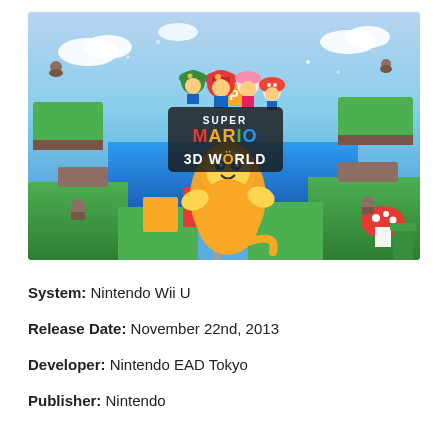[Figure (illustration): Super Mario 3D World game cover art showing Mario in a cat suit sliding down a pole, with Luigi, Peach, Toad and other characters, colorful 3D platform world in background with the game logo prominently displayed.]
System: Nintendo Wii U
Release Date: November 22nd, 2013
Developer: Nintendo EAD Tokyo
Publisher: Nintendo